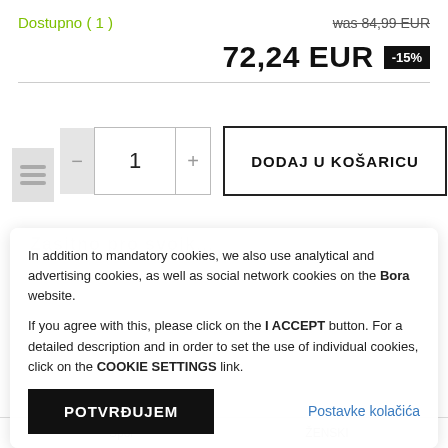Dostupno ( 1 )
was 84,99 EUR
72,24 EUR -15%
1  DODAJ U KOŠARICU
In addition to mandatory cookies, we also use analytical and advertising cookies, as well as social network cookies on the Bora website.

If you agree with this, please click on the I ACCEPT button. For a detailed description and in order to set the use of individual cookies, click on the COOKIE SETTINGS link.
POTVRĐUJEM
Postavke kolačića
Spol   ŽENSKI